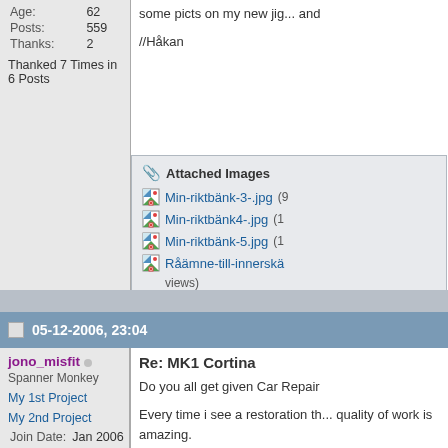| Age: | 62 |
| Posts: | 559 |
| Thanks: | 2 |
Thanked 7 Times in 6 Posts
some picts on my new jig... and
//Håkan
📎 Attached Images
Min-riktbänk-3-.jpg (9...
Min-riktbänk4-.jpg (10...
Min-riktbänk-5.jpg (10...
Råämne-till-innerskä... views)
05-12-2006, 23:04
jono_misfit
Spanner Monkey
My 1st Project
My 2nd Project
| Join Date: | Jan 2006 |
| Location: | perthshire |
| Age: | 43 |
Re: MK1 Cortina
Do you all get given Car Repair
Every time i see a restoration th... quality of work is amazing.
Big Thumbs up to you Hakan